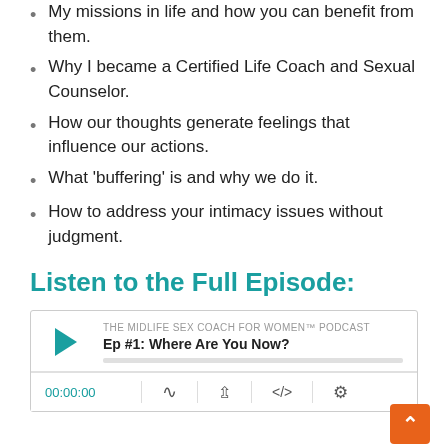My missions in life and how you can benefit from them.
Why I became a Certified Life Coach and Sexual Counselor.
How our thoughts generate feelings that influence our actions.
What 'buffering' is and why we do it.
How to address your intimacy issues without judgment.
Listen to the Full Episode:
[Figure (other): Podcast audio player widget showing THE MIDLIFE SEX COACH FOR WOMEN™ PODCAST, episode Ep #1: Where Are You Now?, with play button, progress bar, time display 00:00:00, and control icons.]
Featured on the Show: